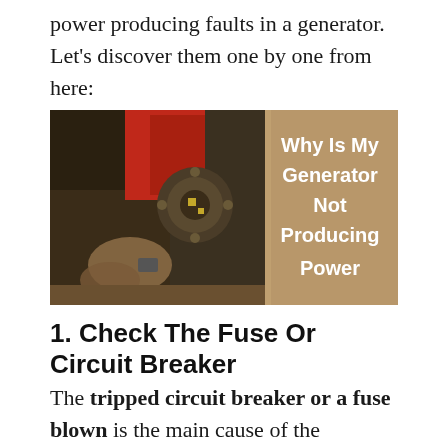power producing faults in a generator. Let’s discover them one by one from here:
[Figure (photo): Photo of a mechanic working on a generator engine, with the right half showing a tan/sepia overlay and white bold text reading 'Why Is My Generator Not Producing Power']
1. Check The Fuse Or Circuit Breaker
The tripped circuit breaker or a fuse blown is the main cause of the problem. It may cause complete damage to your generator. Because the